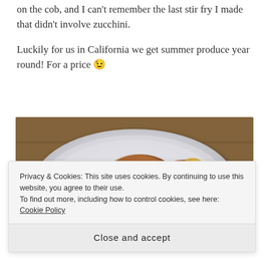on the cob, and I can't remember the last stir fry I made that didn't involve zucchini.
Luckily for us in California we get summer produce year round! For a price 😉
[Figure (photo): A plate of golden-brown pan-fried zucchini fritters/patties on a white plate, photographed from above at a slight angle.]
Privacy & Cookies: This site uses cookies. By continuing to use this website, you agree to their use.
To find out more, including how to control cookies, see here: Cookie Policy
Close and accept